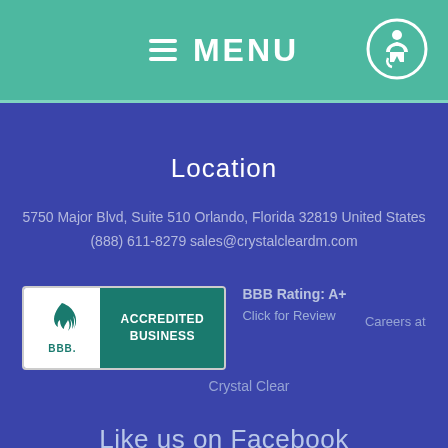≡ MENU
Location
5750 Major Blvd, Suite 510 Orlando, Florida 32819 United States
(888) 611-8279 sales@crystalcleardm.com
[Figure (logo): BBB Accredited Business badge with flame logo and teal background]
BBB Rating: A+
Click for Review
Careers at
Crystal Clear
Like us on Facebook